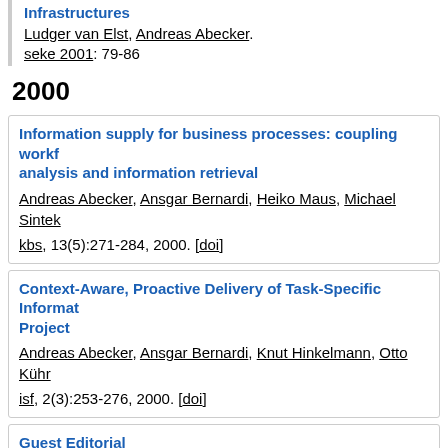Infrastructures
Ludger van Elst, Andreas Abecker.
seke 2001: 79-86
2000
Information supply for business processes: coupling workf analysis and information retrieval
Andreas Abecker, Ansgar Bernardi, Heiko Maus, Michael Sintek
kbs, 13(5):271-284, 2000. [doi]
Context-Aware, Proactive Delivery of Task-Specific Informat Project
Andreas Abecker, Ansgar Bernardi, Knut Hinkelmann, Otto Kühr
isf, 2(3):253-276, 2000. [doi]
Guest Editorial
Andreas Abecker, Stefan Decker, Frank Maurer.
isf, 2(3):251-252, 2000. [doi]